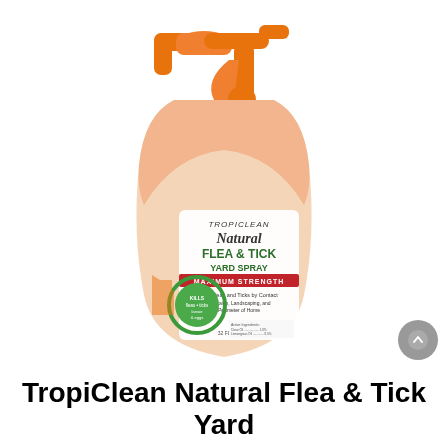[Figure (photo): TropiClean Natural Flea & Tick Yard Spray product bottle with orange hose-end sprayer attachment. The bottle is white with an orange gradient top, featuring the TropiClean brand label showing Natural Flea & Tick Yard Spray, Maximum Strength, with a green circular badge saying KILLS fleas, ticks, larvae & eggs.]
TropiClean Natural Flea & Tick Yard